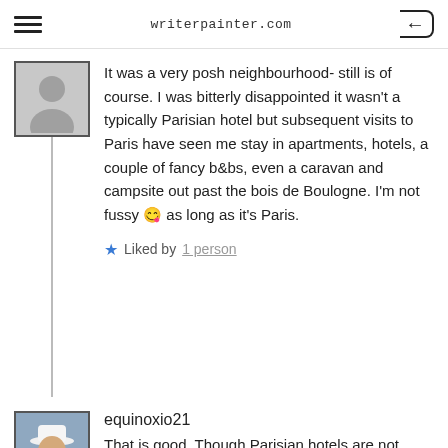writerpainter.com
It was a very posh neighbourhood- still is of course. I was bitterly disappointed it wasn't a typically Parisian hotel but subsequent visits to Paris have seen me stay in apartments, hotels, a couple of fancy b&bs, even a caravan and campsite out past the bois de Boulogne. I'm not fussy 😊 as long as it's Paris.
★ Liked by 1 person
equinoxio21
That is good. Though Parisian hotels are not always that great. There was a nice one, Rue du Dragon, near St-Germain. A camping site near Bois de Boulogne? hmmm. Don't wander at night. Cheers.